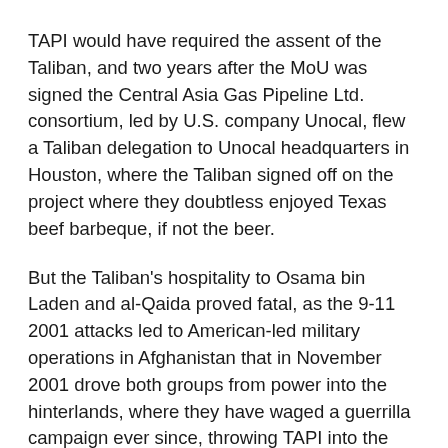TAPI would have required the assent of the Taliban, and two years after the MoU was signed the Central Asia Gas Pipeline Ltd. consortium, led by U.S. company Unocal, flew a Taliban delegation to Unocal headquarters in Houston, where the Taliban signed off on the project where they doubtless enjoyed Texas beef barbeque, if not the beer.
But the Taliban's hospitality to Osama bin Laden and al-Qaida proved fatal, as the 9-11 2001 attacks led to American-led military operations in Afghanistan that in November 2001 drove both groups from power into the hinterlands, where they have waged a guerrilla campaign ever since, throwing TAPI into the deep freeze.
Nonplussed, in 2011 Afghanistan's security situation seemed to be improving to the point that TAPI was revived under the auspices of the Asian Development Bank, with the Afghan government projected to receive 8 percent of the project's revenue. Shortly before the ADB signed off on